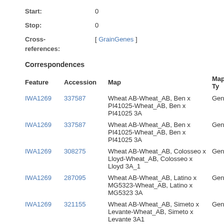Start: 0
Stop: 0
Cross-references: [ GrainGenes ]
Correspondences
| Feature | Accession | Map | Map Ty... |
| --- | --- | --- | --- |
| IWA1269 | 337587 | Wheat AB-Wheat_AB, Ben x PI41025-Wheat_AB, Ben x PI41025 3A | Geneti... |
| IWA1269 | 337587 | Wheat AB-Wheat_AB, Ben x PI41025-Wheat_AB, Ben x PI41025 3A | Geneti... |
| IWA1269 | 308275 | Wheat AB-Wheat_AB, Colosseo x Lloyd-Wheat_AB, Colosseo x Lloyd 3A_1 | Geneti... |
| IWA1269 | 287095 | Wheat AB-Wheat_AB, Latino x MG5323-Wheat_AB, Latino x MG5323 3A | Geneti... |
| IWA1269 | 321155 | Wheat AB-Wheat_AB, Simeto x Levante-Wheat_AB, Simeto x Levante 3A1 | Geneti... |
| IWA1269 | 332567 | Wheat AB-Wheat_AB, Svevo x Ciccio-Wheat_AB, Svevo x Ciccio 3A_1 | Geneti... |